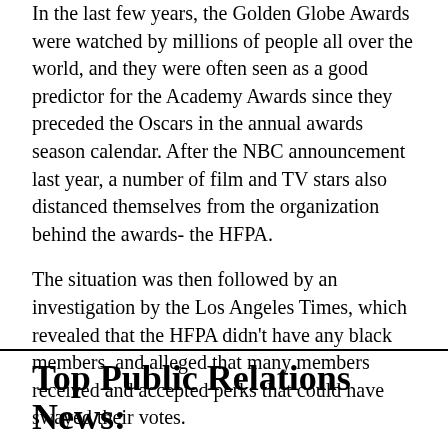In the last few years, the Golden Globe Awards were watched by millions of people all over the world, and they were often seen as a good predictor for the Academy Awards since they preceded the Oscars in the annual awards season calendar. After the NBC announcement last year, a number of film and TV stars also distanced themselves from the organization behind the awards- the HFPA.
The situation was then followed by an investigation by the Los Angeles Times, which revealed that the HFPA didn't have any black members, and alleged that many members received and accepted perks that could have swayed their votes.
Top Public Relations News: